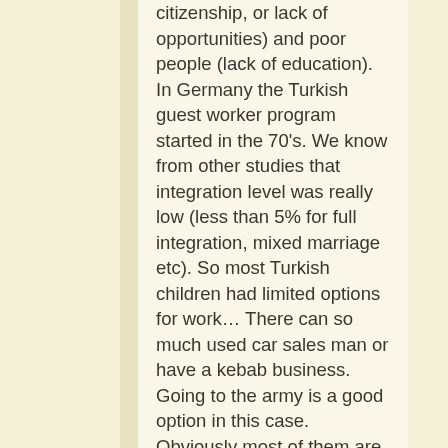citizenship, or lack of opportunities) and poor people (lack of education). In Germany the Turkish guest worker program started in the 70's. We know from other studies that integration level was really low (less than 5% for full integration, mixed marriage etc). So most Turkish children had limited options for work… There can so much used car sales man or have a kebab business. Going to the army is a good option in this case. Obviously most of them are not devout Muslims because they were living in a secular society and the Turks immigrated in the 70's and 80's came from a more secular Turkey so they were not so radical in their beliefs. So let's see about the numbers of 60,000 vs 1500